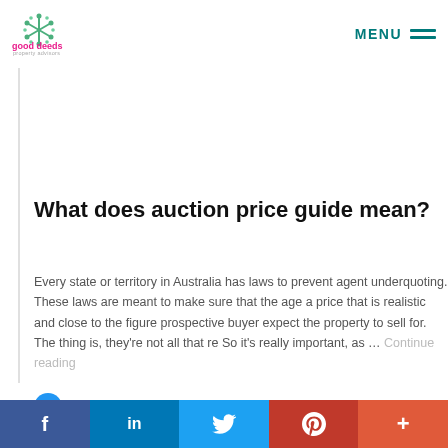[Figure (logo): Good Deeds Property Advisors logo — green snowflake/tree icon, pink 'good deeds' text, grey 'property advisors' subtext]
MENU
What does auction price guide mean?
Every state or territory in Australia has laws to prevent agent underquoting. These laws are meant to make sure that the agent gives a price that is realistic and close to the figure prospective buyers expect the property to sell for. The thing is, they're not all that reliable. So it's really important, as … Continue reading
Good Deeds